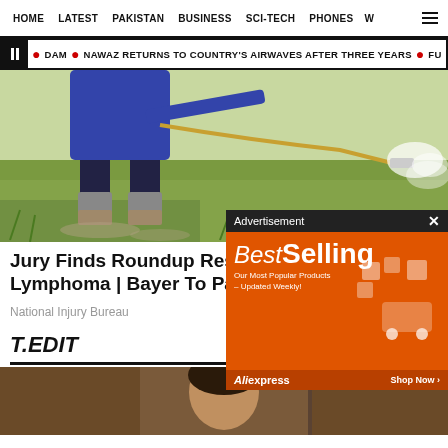HOME | LATEST | PAKISTAN | BUSINESS | SCI-TECH | PHONES | W
DAM | NAWAZ RETURNS TO COUNTRY'S AIRWAVES AFTER THREE YEARS | FU
[Figure (photo): Person in rubber boots spraying pesticide over a green rice paddy field]
Jury Finds Roundup Resp… Lymphoma | Bayer To Pay
National Injury Bureau
T.EDIT
[Figure (photo): Portrait of a person, partially visible, brown/warm tones background]
[Figure (advertisement): BestSelling advertisement banner from AliExpress showing products and Shop Now button]